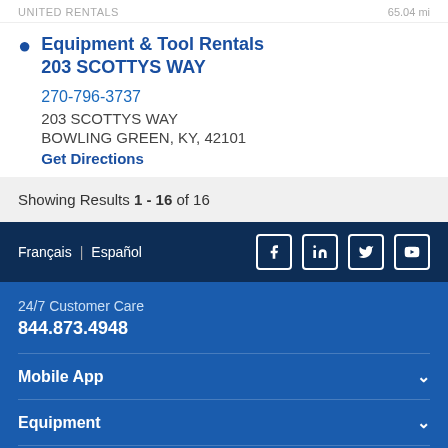UNITED RENTALS | 65.04 mi
Equipment & Tool Rentals 203 SCOTTYS WAY
270-796-3737
203 SCOTTYS WAY
BOWLING GREEN, KY, 42101
Get Directions
Showing Results 1 - 16 of 16
Français | Español
24/7 Customer Care
844.873.4948
Mobile App
Equipment
Solutions & Services